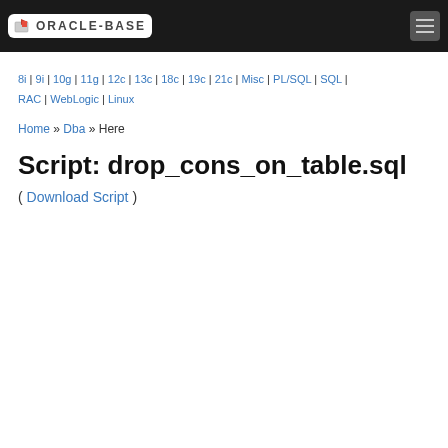ORACLE-BASE [logo/navbar]
8i | 9i | 10g | 11g | 12c | 13c | 18c | 19c | 21c | Misc | PL/SQL | SQL | RAC | WebLogic | Linux
Home » Dba » Here
Script: drop_cons_on_table.sql
( Download Script )